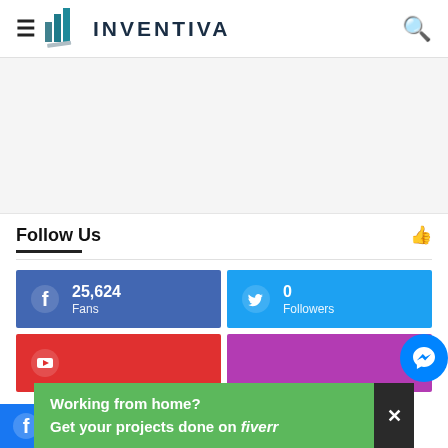INVENTIVA
[Figure (logo): Inventiva logo with stylized bar-chart icon and uppercase INVENTIVA text]
Follow Us
[Figure (infographic): Social media follow counts: Facebook 25,624 Fans; Twitter 0 Followers; YouTube (partial); Instagram (partial)]
Working from home? Get your projects done on fiverr